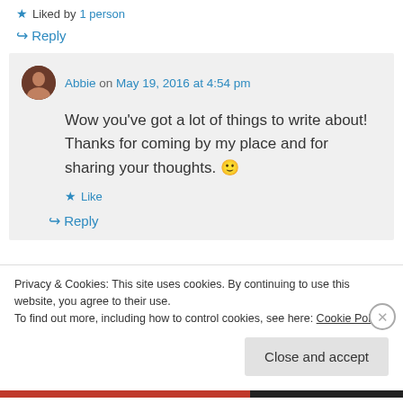★ Liked by 1 person
↪ Reply
Abbie on May 19, 2016 at 4:54 pm
Wow you've got a lot of things to write about! Thanks for coming by my place and for sharing your thoughts. 🙂
★ Like
↪ Reply
Privacy & Cookies: This site uses cookies. By continuing to use this website, you agree to their use. To find out more, including how to control cookies, see here: Cookie Policy
Close and accept